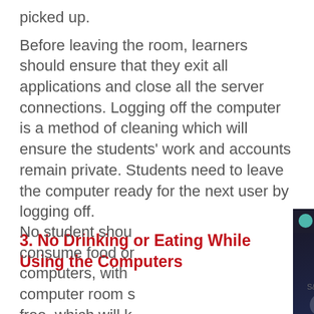picked up.
Before leaving the room, learners should ensure that they exit all applications and close all the server connections. Logging off the computer is a method of cleaning which will ensure the students' work and accounts remain private. Students need to leave the computer ready for the next user by logging off.
3. No Drinking or Eating While Using the Computers
No student shou consume food or computers, with computer room s free, which will k and safe
[Figure (screenshot): AdMetricsPro video ad overlay with blue play button bars and arrow, dark background, showing S&S Worldwide Online Learning branding, with mute button visible at bottom left]